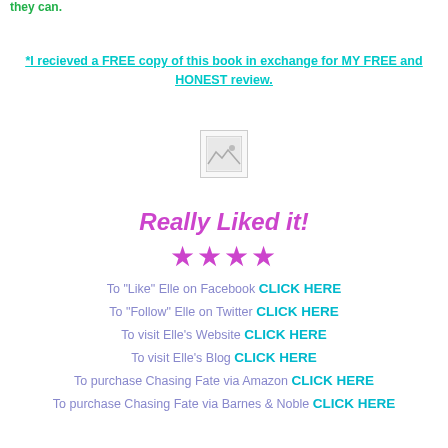they can.
*I recieved a FREE copy of this book in exchange for MY FREE and HONEST review.
[Figure (other): Broken/placeholder image icon]
Really Liked it!
★★★★
To "Like" Elle on Facebook CLICK HERE
To "Follow" Elle on Twitter CLICK HERE
To visit Elle's Website CLICK HERE
To visit Elle's Blog CLICK HERE
To purchase Chasing Fate via Amazon CLICK HERE
To purchase Chasing Fate via Barnes & Noble CLICK HERE